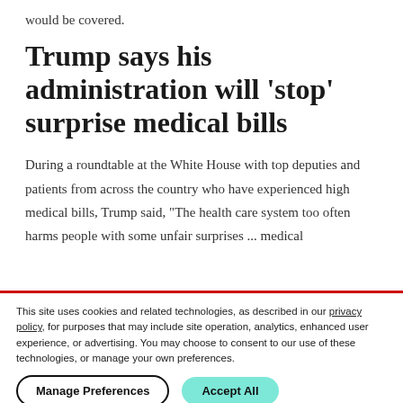would be covered.
Trump says his administration will 'stop' surprise medical bills
During a roundtable at the White House with top deputies and patients from across the country who have experienced high medical bills, Trump said, "The health care system too often harms people with some unfair surprises ... medical
This site uses cookies and related technologies, as described in our privacy policy, for purposes that may include site operation, analytics, enhanced user experience, or advertising. You may choose to consent to our use of these technologies, or manage your own preferences.